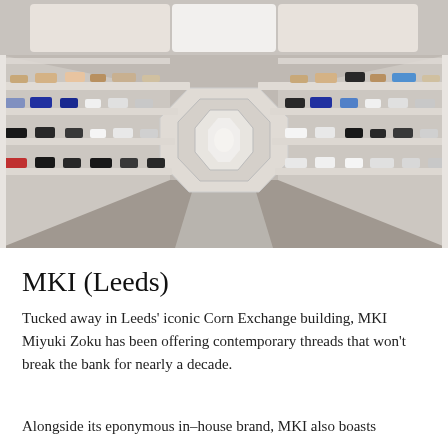[Figure (photo): Interior of MKI shoe store in Leeds Corn Exchange building. A long corridor with white octagonal receding shelves lined with shoes on both sides, lit ceiling panels, and a grey carpet runner leading to a mirror-finish octagonal tunnel effect in the background.]
MKI (Leeds)
Tucked away in Leeds' iconic Corn Exchange building, MKI Miyuki Zoku has been offering contemporary threads that won't break the bank for nearly a decade.
Alongside its eponymous in–house brand, MKI also boasts